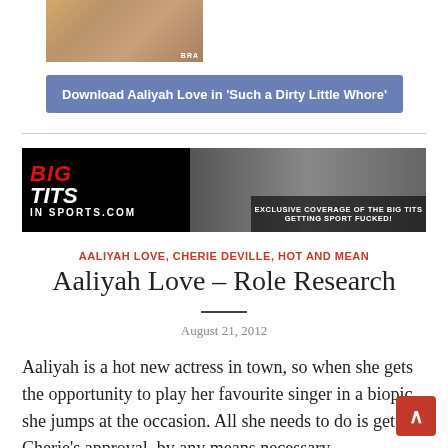[Figure (photo): Cropped photo of a person, partially visible]
Download Aaliyah Love in 'Such a Dirty Little Whore'
[Figure (advertisement): Big Tits In Sports .com banner advertisement with photos and text 'EXCLUSIVE COVERAGE OF THE BIG TITS GETTING SPORT FUCKED!']
AALIYAH LOVE , CHERIE DEVILLE , HOT AND MEAN
Aaliyah Love – Role Research
August 21, 2012
Aaliyah is a hot new actress in town, so when she gets the opportunity to play her favourite singer in a biopic, she jumps at the occasion. All she needs to do is get Cherie's approval, by any means necessary.